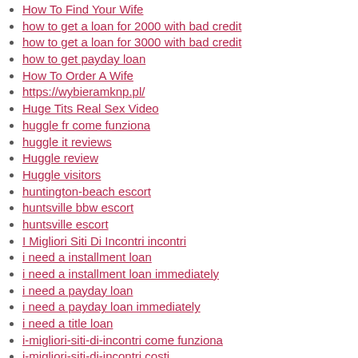How To Find Your Wife
how to get a loan for 2000 with bad credit
how to get a loan for 3000 with bad credit
how to get payday loan
How To Order A Wife
https://wybieramknp.pl/
Huge Tits Real Sex Video
huggle fr come funziona
huggle it reviews
Huggle review
Huggle visitors
huntington-beach escort
huntsville bbw escort
huntsville escort
I Migliori Siti Di Incontri incontri
i need a installment loan
i need a installment loan immediately
i need a payday loan
i need a payday loan immediately
i need a title loan
i-migliori-siti-di-incontri come funziona
i-migliori-siti-di-incontri costi
iamnaughty fr come funziona
iamnaughty review
iamnaughty reviews
Iamnaughty site de rencontre